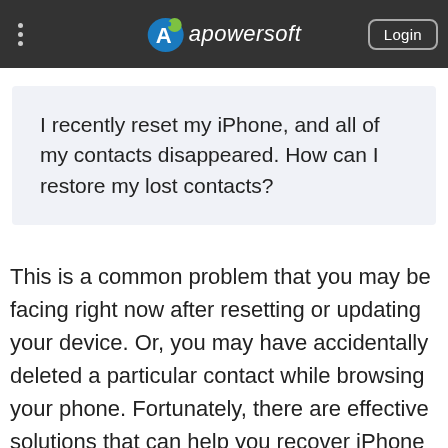Apowersoft — Login
I recently reset my iPhone, and all of my contacts disappeared. How can I restore my lost contacts?
This is a common problem that you may be facing right now after resetting or updating your device. Or, you may have accidentally deleted a particular contact while browsing your phone. Fortunately, there are effective solutions that can help you recover iPhone deleted contacts.